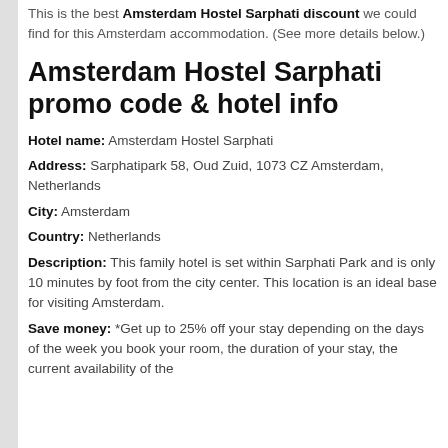This is the best Amsterdam Hostel Sarphati discount we could find for this Amsterdam accommodation. (See more details below.)
Amsterdam Hostel Sarphati promo code & hotel info
Hotel name: Amsterdam Hostel Sarphati
Address: Sarphatipark 58, Oud Zuid, 1073 CZ Amsterdam, Netherlands
City: Amsterdam
Country: Netherlands
Description: This family hotel is set within Sarphati Park and is only 10 minutes by foot from the city center. This location is an ideal base for visiting Amsterdam.
Save money: *Get up to 25% off your stay depending on the days of the week you book your room, the duration of your stay, the current availability of the